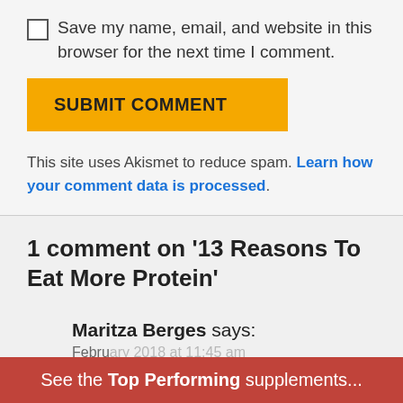Save my name, email, and website in this browser for the next time I comment.
SUBMIT COMMENT
This site uses Akismet to reduce spam. Learn how your comment data is processed.
1 comment on '13 Reasons To Eat More Protein'
Maritza Berges says:
February 2018 at 11:45 am
See the Top Performing supplements...